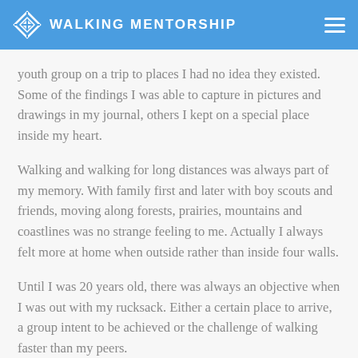WALKING MENTORSHIP
youth group on a trip to places I had no idea they existed. Some of the findings I was able to capture in pictures and drawings in my journal, others I kept on a special place inside my heart.
Walking and walking for long distances was always part of my memory. With family first and later with boy scouts and friends, moving along forests, prairies, mountains and coastlines was no strange feeling to me. Actually I always felt more at home when outside rather than inside four walls.
Until I was 20 years old, there was always an objective when I was out with my rucksack. Either a certain place to arrive, a group intent to be achieved or the challenge of walking faster than my peers.